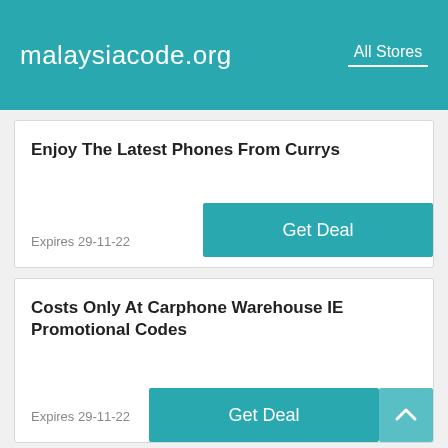malaysiacode.org  All Stores
Enjoy The Latest Phones From Currys
Expires 29-11-22
Costs Only At Carphone Warehouse IE Promotional Codes
Expires 29-11-22
Most Popular Products From £70